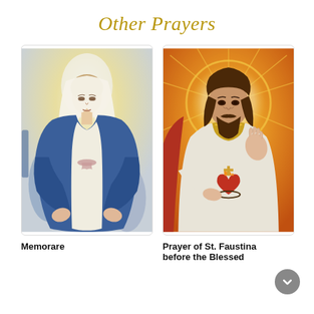Other Prayers
[Figure (illustration): Painting of the Virgin Mary in blue mantle with white veil, arms extended downward with open palms, white dress with pink sash, soft glowing background]
[Figure (illustration): Painting of Jesus Christ with sacred heart, right hand raised in blessing, golden halo, red and white robes, golden necklace, luminous radial background]
Memorare
Prayer of St. Faustina before the Blessed